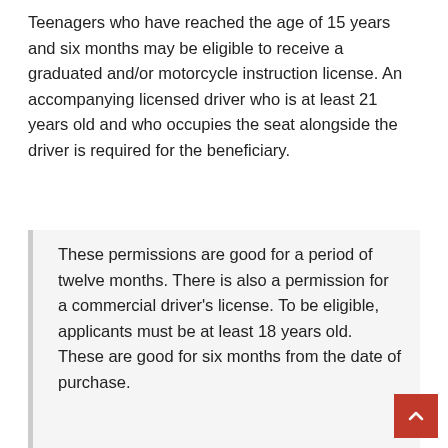Teenagers who have reached the age of 15 years and six months may be eligible to receive a graduated and/or motorcycle instruction license. An accompanying licensed driver who is at least 21 years old and who occupies the seat alongside the driver is required for the beneficiary.
These permissions are good for a period of twelve months. There is also a permission for a commercial driver's license. To be eligible, applicants must be at least 18 years old. These are good for six months from the date of purchase.